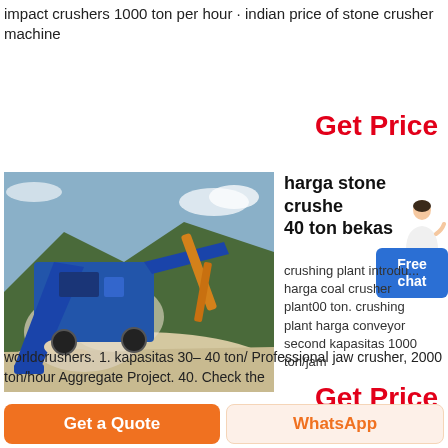impact crushers 1000 ton per hour · indian price of stone crusher machine
Get Price
[Figure (photo): A blue mobile stone crushing plant with conveyor belt in operation at a quarry site, with an excavator and mountains in the background.]
harga stone crusher 40 ton bekas
crushing plant introdu... harga coal crusher plant00 ton. crushing plant harga conveyor second kapasitas 1000 ton/jam
worldcrushers. 1. kapasitas 30– 40 ton/ Professional jaw crusher, 2000 ton/hour Aggregate Project. 40. Check the
Get Price
Get a Quote
WhatsApp